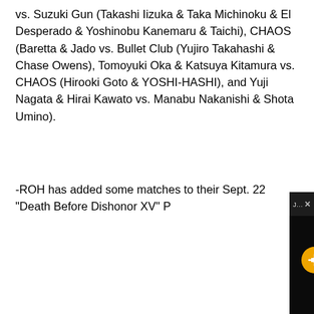vs. Suzuki Gun (Takashi Iizuka & Taka Michinoku & El Desperado & Yoshinobu Kanemaru & Taichi), CHAOS (Baretta & Jado vs. Bullet Club (Yujiro Takahashi & Chase Owens), Tomoyuki Oka & Katsuya Kitamura vs. CHAOS (Hirooki Goto & YOSHI-HASHI), and Yuji Nagata & Hirai Kawato vs. Manabu Nakanishi & Shota Umino).
-ROH has added some matches to their Sept. 22 "Death Before Dishonor XV" P...
[Figure (screenshot): Partially visible video popup overlay with dark background, showing title bar 'Jon Moxley vs. CM Punk discussion on T...' with an X close button, a muted (orange circle with mute icon) video player, and a circular close button in the lower right.]
[Figure (logo): Green filter/funnel icon on the left side of the page]
[Figure (screenshot): Disney Bundle advertisement banner: hulu, Disney+, ESPN+ logos with 'GET THE DISNEY BUNDLE' call to action button and fine print text 'Incl. Hulu (ad-supported) or Hulu (No Ads). Access content from each service separately. ©2021 Disney and its related entities']